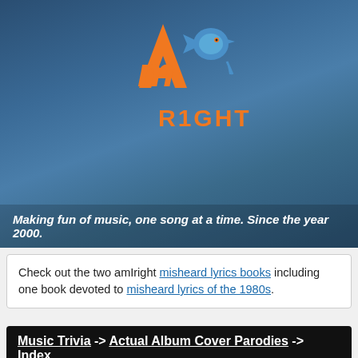[Figure (logo): AmIright logo with orange stylized letters A, m, i and a blue bird/right arrow graphic, with 'RIGHT' text below in orange]
Making fun of music, one song at a time. Since the year 2000.
Check out the two amIright misheard lyrics books including one book devoted to misheard lyrics of the 1980s.
Music Trivia -> Actual Album Cover Parodies -> Index
Some albums are not just iconic, but their cover artwork is as well. Plenty of groups have released album covers with homages to more famous album covers. Sources for parody